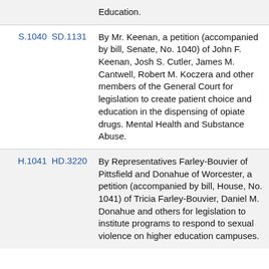| Bill | Doc | Description |
| --- | --- | --- |
|  |  | Education. |
| S.1040 | SD.1131 | By Mr. Keenan, a petition (accompanied by bill, Senate, No. 1040) of John F. Keenan, Josh S. Cutler, James M. Cantwell, Robert M. Koczera and other members of the General Court for legislation to create patient choice and education in the dispensing of opiate drugs. Mental Health and Substance Abuse. |
| H.1041 | HD.3220 | By Representatives Farley-Bouvier of Pittsfield and Donahue of Worcester, a petition (accompanied by bill, House, No. 1041) of Tricia Farley-Bouvier, Daniel M. Donahue and others for legislation to institute programs to respond to sexual violence on higher education campuses. |